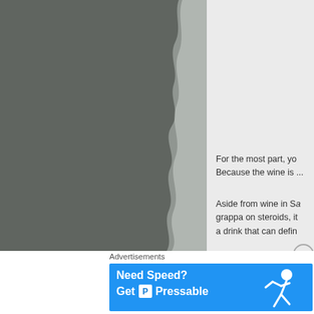[Figure (photo): Dark grey torn paper or wall texture photograph taking up the left portion of the page]
For the most part, yo...
Because the wine is ...
Aside from wine in Sa...
grappa on steroids, it...
a drink that can defin...
Advertisements
[Figure (other): Advertisement banner: Need Speed? Get [P] Pressable, blue background with a running figure]